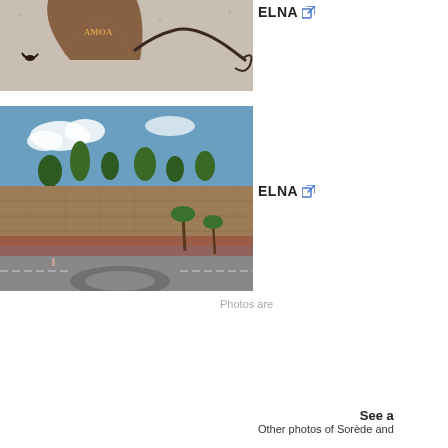[Figure (photo): Close-up photo of a decorative metal sign on a textured wall, appears to be a fan-shaped wrought iron sign with a bird, mounted on a white stucco wall]
ELNA
[Figure (photo): Photo of a large historic stone fortress wall with battlements, trees visible above, with a roundabout road in the foreground and palm trees]
ELNA
Photos are
See a
Other photos of Sorède and